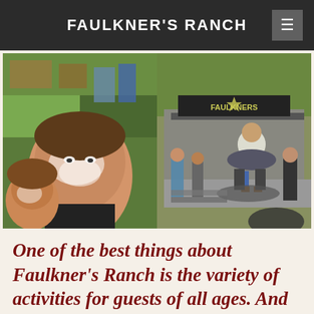FAULKNER'S RANCH
[Figure (photo): Photo collage: left side shows two children with face paint at an outdoor event; right side shows a performer or rider on a mechanical bull on a stage with 'Faulkners' signage, spectators watching at what appears to be Faulkner's Ranch]
One of the best things about Faulkner's Ranch is the variety of activities for guests of all ages. And there are opportunities for